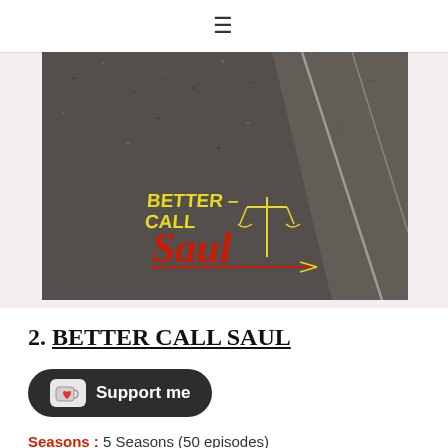≡
[Figure (photo): Photograph of asphalt road with 'Better Call Saul' logo overlaid — yellow and red stylized text with scales of justice icon]
2. BETTER CALL SAUL
[Figure (other): Support me button with coffee cup heart icon]
Seasons : 5 Seasons (50 episodes)